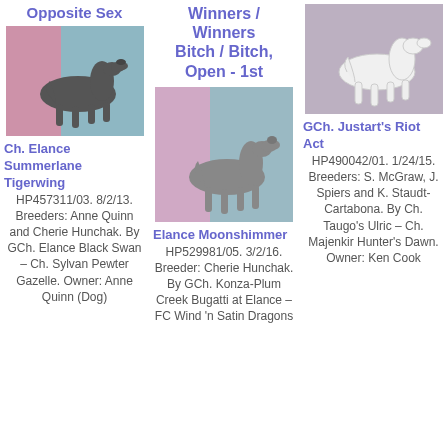Opposite Sex
[Figure (photo): Photo of a dark grey/brindle sighthound dog standing in profile at a dog show, with pink and teal drapes in the background.]
Ch. Elance Summerlane Tigerwing HP457311/03. 8/2/13. Breeders: Anne Quinn and Cherie Hunchak. By GCh. Elance Black Swan – Ch. Sylvan Pewter Gazelle. Owner: Anne Quinn (Dog)
Winners / Winners Bitch / Bitch, Open - 1st
[Figure (photo): Photo of a grey brindle sighthound dog standing in profile at a dog show, with colorful drapes in the background.]
Elance Moonshimmer HP529981/05. 3/2/16. Breeder: Cherie Hunchak. By GCh. Konza-Plum Creek Bugatti at Elance – FC Wind 'n Satin Dragons
[Figure (photo): Photo of a white sighthound dog standing in profile at a dog show.]
GCh. Justart's Riot Act HP490042/01. 1/24/15. Breeders: S. McGraw, J. Spiers and K. Staudt-Cartabona. By Ch. Taugo's Ulric – Ch. Majenkir Hunter's Dawn. Owner: Ken Cook